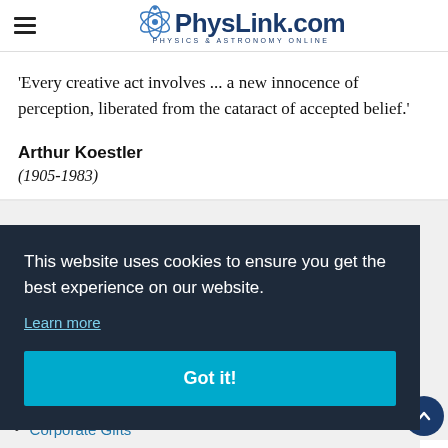PhysLink.com — Physics & Astronomy Online
'Every creative act involves … a new innocence of perception, liberated from the cataract of accepted belief.'
Arthur Koestler
(1905-1983)
This website uses cookies to ensure you get the best experience on our website. Learn more Got it!
Corporate Gifts